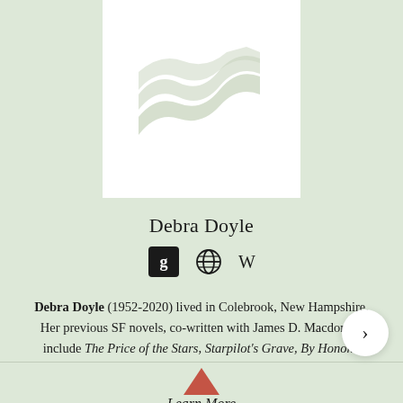[Figure (logo): Book cover placeholder with stylized wave/flag logo in light beige on white background]
Debra Doyle
[Figure (infographic): Row of three social/reference icons: Goodreads (g in black square), globe/website icon, Wikipedia (W) icon]
Debra Doyle (1952-2020) lived in Colebrook, New Hampshire. Her previous SF novels, co-written with James D. Macdonald include The Price of the Stars, Starpilot's Grave, By Honor...
Learn More